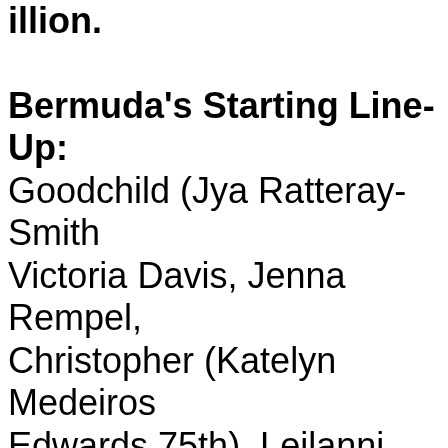illion. Bermuda's Starting Line-Up: Goodchild (Jya Ratteray-Smith Victoria Davis, Jenna Rempel, Christopher (Katelyn Medeiros Edwards 75th), Leilanni Nesbe Brangman 75th), Keunna Dill ( Substitutes: - Micah Pond, De Waldron, Terinae Trott, - Caym - Erica Burke (Sophie Roberts Green 74th), Daniella Gourzom 56th), Deondra Kelly, Neesah